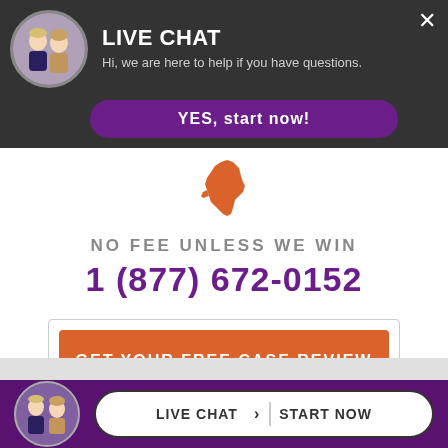[Figure (screenshot): Live chat popup bar with two attorney avatars, title LIVE CHAT, subtitle text, and YES start now button]
LIVE CHAT
Hi, we are here to help if you have questions.
YES, start now!
[Figure (illustration): Orange silhouette of California state map]
NO FEE UNLESS WE WIN
1 (877) 672-0152
GET YOUR FREE CASE REVIEW
[Figure (screenshot): Bottom footer bar with purple background, two attorney avatars, and LIVE CHAT / START NOW button]